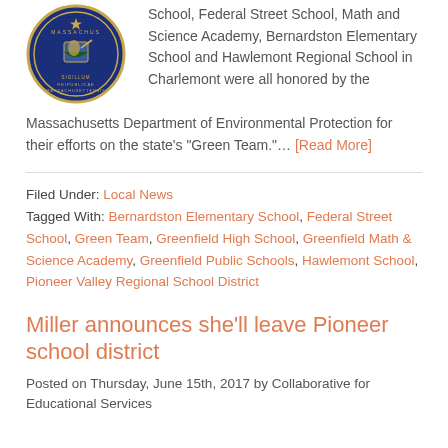[Figure (logo): Massachusetts state seal — circular blue seal with gold text and imagery]
School, Federal Street School, Math and Science Academy, Bernardston Elementary School and Hawlemont Regional School in Charlemont were all honored by the Massachusetts Department of Environmental Protection for their efforts on the state's "Green Team."… [Read More]
Filed Under: Local News
Tagged With: Bernardston Elementary School, Federal Street School, Green Team, Greenfield High School, Greenfield Math & Science Academy, Greenfield Public Schools, Hawlemont School, Pioneer Valley Regional School District
Miller announces she'll leave Pioneer school district
Posted on Thursday, June 15th, 2017 by Collaborative for Educational Services